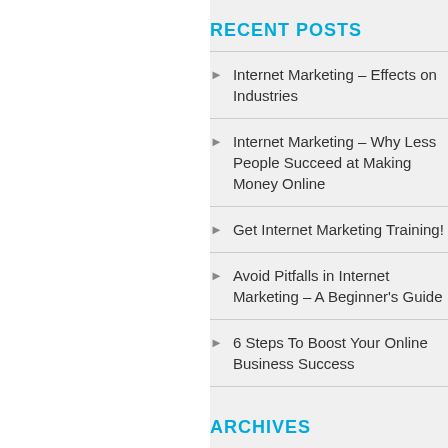RECENT POSTS
Internet Marketing – Effects on Industries
Internet Marketing – Why Less People Succeed at Making Money Online
Get Internet Marketing Training!
Avoid Pitfalls in Internet Marketing – A Beginner's Guide
6 Steps To Boost Your Online Business Success
ARCHIVES
Select Month